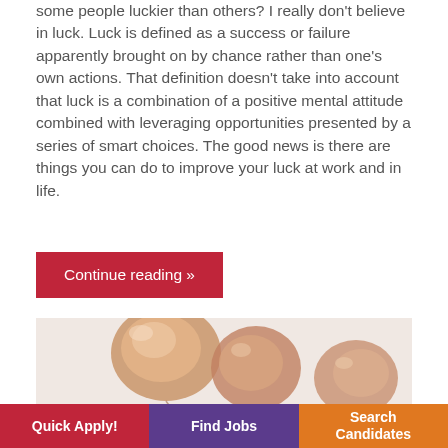some people luckier than others? I really don't believe in luck. Luck is defined as a success or failure apparently brought on by chance rather than one's own actions. That definition doesn't take into account that luck is a combination of a positive mental attitude combined with leveraging opportunities presented by a series of smart choices. The good news is there are things you can do to improve your luck at work and in life.
Continue reading »
[Figure (photo): Close-up photo of rose gold metallic foil balloons against a light background]
Quick Apply!   Find Jobs   Search Candidates